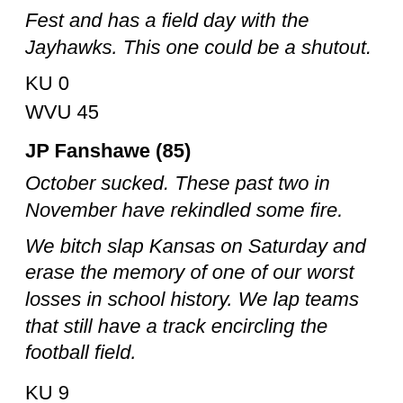Fest and has a field day with the Jayhawks. This one could be a shutout.
KU 0
WVU 45
JP Fanshawe (85)
October sucked. These past two in November have rekindled some fire.
We bitch slap Kansas on Saturday and erase the memory of one of our worst losses in school history. We lap teams that still have a track encircling the football field.
KU 9
WVU 66